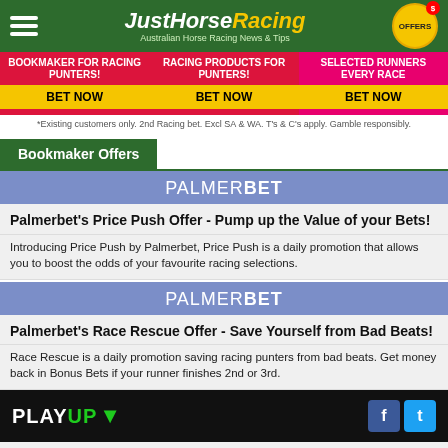JustHorseRacing - Australian Horse Racing News & Tips
[Figure (infographic): Three promotional columns: BOOKMAKER FOR RACING PUNTERS! BET NOW | RACING PRODUCTS FOR PUNTERS! BET NOW | SELECTED RUNNERS EVERY RACE BET NOW]
*Existing customers only. 2nd Racing bet. Excl SA & WA. T's & C's apply. Gamble responsibly.
Bookmaker Offers
[Figure (logo): PALMERBET logo on blue-purple background]
Palmerbet's Price Push Offer - Pump up the Value of your Bets!
Introducing Price Push by Palmerbet, Price Push is a daily promotion that allows you to boost the odds of your favourite racing selections.
[Figure (logo): PALMERBET logo on blue-purple background]
Palmerbet's Race Rescue Offer - Save Yourself from Bad Beats!
Race Rescue is a daily promotion saving racing punters from bad beats. Get money back in Bonus Bets if your runner finishes 2nd or 3rd.
[Figure (logo): PLAYUP logo on black background with Facebook and Twitter icons]
Save More From Racing. Read On To Find Out More